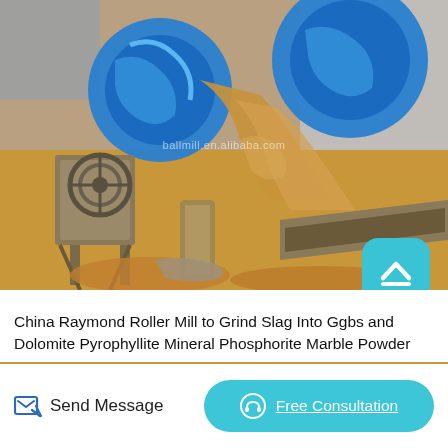[Figure (photo): Industrial mining/milling site with large blue spiral/screw conveyor machinery and sandy material being processed, with watermark text 'ballmill.en.alibaba.com']
China Raymond Roller Mill to Grind Slag Into Ggbs and Dolomite Pyrophyllite Mineral Phosphorite Marble Powder Production Line, Find details about China Machine, Mining Machine from Raymond Roller Mill to Grind Slag Into Ggbs and Dolomite Pyrophyllite
Send Message
Free Consultation